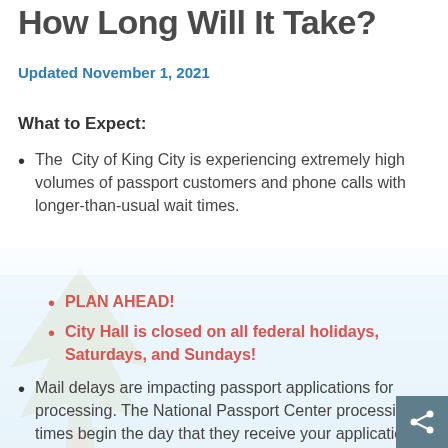How Long Will It Take?
Updated November 1, 2021
What to Expect:
The  City of King City is experiencing extremely high volumes of passport customers and phone calls with longer-than-usual wait times.
PLAN AHEAD!
City Hall is closed on all federal holidays, Saturdays, and Sundays!
Mail delays are impacting passport applications for processing. The National Passport Center processing times begin the day that they receive your application, not the…